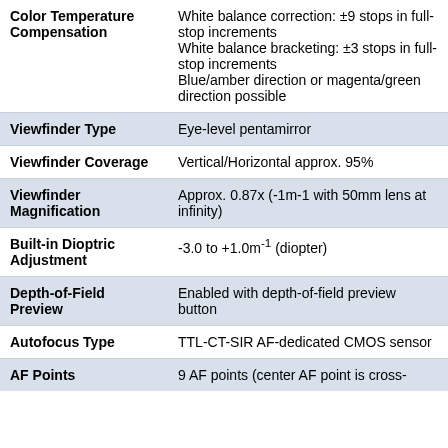| Feature | Description |
| --- | --- |
| Color Temperature Compensation | White balance correction: ±9 stops in full-stop increments
White balance bracketing: ±3 stops in full-stop increments
Blue/amber direction or magenta/green direction possible |
| Viewfinder Type | Eye-level pentamirror |
| Viewfinder Coverage | Vertical/Horizontal approx. 95% |
| Viewfinder Magnification | Approx. 0.87x (-1m-1 with 50mm lens at infinity) |
| Built-in Dioptric Adjustment | -3.0 to +1.0m-1 (diopter) |
| Depth-of-Field Preview | Enabled with depth-of-field preview button |
| Autofocus Type | TTL-CT-SIR AF-dedicated CMOS sensor |
| AF Points | 9 AF points (center AF point is cross- |